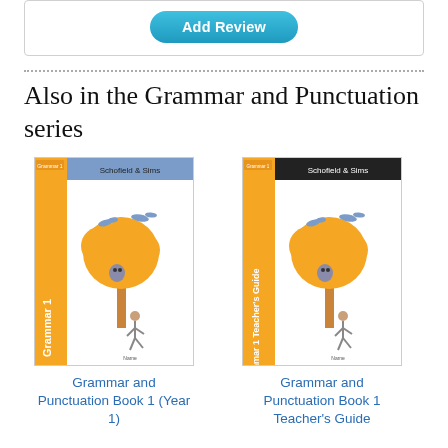[Figure (screenshot): Add Review button inside a bordered box]
Also in the Grammar and Punctuation series
[Figure (photo): Cover of Grammar and Punctuation Book 1 (Year 1) — Schofield & Sims, orange spine with tree illustration]
Grammar and Punctuation Book 1 (Year 1)
[Figure (photo): Cover of Grammar and Punctuation Book 1 Teacher's Guide — Schofield & Sims, orange spine with tree illustration and black header]
Grammar and Punctuation Book 1 Teacher's Guide